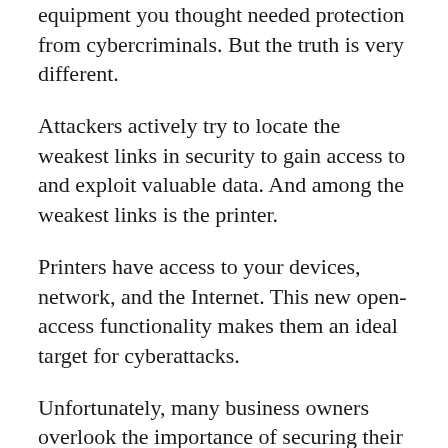equipment you thought needed protection from cybercriminals. But the truth is very different.
Attackers actively try to locate the weakest links in security to gain access to and exploit valuable data. And among the weakest links is the printer.
Printers have access to your devices, network, and the Internet. This new open-access functionality makes them an ideal target for cyberattacks.
Unfortunately, many business owners overlook the importance of securing their printers and mainly focus on computers and mobile phones.
Most people still perceive printers as internal devices that serve basic functions. For this very reason, they are an easy target for cybercriminals.